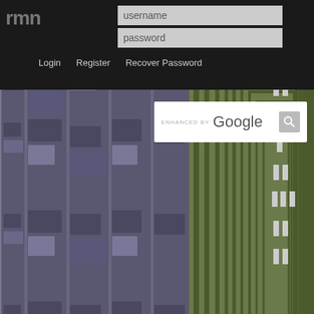rmn  [username field] [password field]  Login  Register  Recover Password
[Figure (screenshot): RPG Maker game screenshot showing a top-down tile map with purple/grey city blocks on the left and green circuit-board style corridors on the right. A white Google search bar overlay is visible in the upper center area. Below is a black bar.]
Seriously, this cut scene was triple A worthy.
Audio:
All of the music are a complete BOP in this game! I sooo loved 'em! The battle